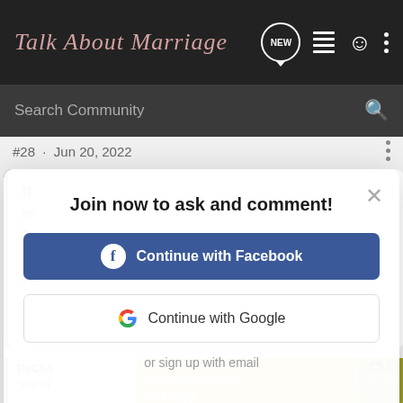Talk About Marriage
Search Community
#28 · Jun 20, 2022
Join now to ask and comment!
Continue with Facebook
Continue with Google
or sign up with email
D... re... Ta... te... yo...
PaCha... She al...
[Figure (screenshot): Advertisement banner: Clean your Air. Express Creativity. Be Happy. Costa Farms]